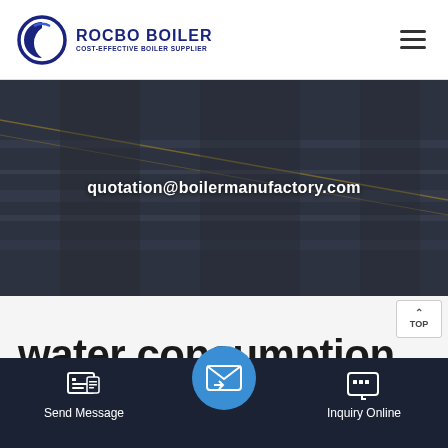[Figure (logo): Rocbo Boiler logo with circular C icon and text 'ROCBO BOILER / COST-EFFECTIVE BOILER SUPPLIER']
[Figure (photo): Dark industrial banner with boiler/pipes background]
quotation@boilermanufactory.com
water consumption for
[Figure (photo): Bottom strip showing industrial boiler pipes and structure]
Send Message
Inquiry Online